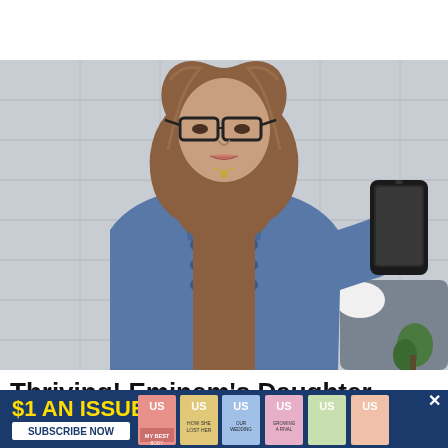[Figure (photo): Young woman with wavy brown hair and black glasses taking a mirror selfie holding a black smartphone, wearing a denim jacket over a white top, standing in front of a grey tiled wall]
Thriving! Eminem's Daughter Hailie Jade
[Figure (infographic): Advertisement banner: $1 AN ISSUE with US Magazine covers and SUBSCRIBE NOW button with close X]